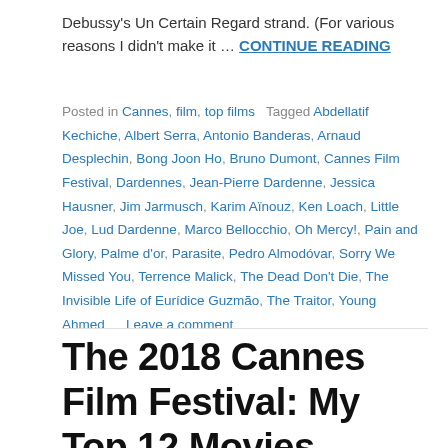Debussy's Un Certain Regard strand. (For various reasons I didn't make it … CONTINUE READING
Posted in Cannes, film, top films   Tagged Abdellatif Kechiche, Albert Serra, Antonio Banderas, Arnaud Desplechin, Bong Joon Ho, Bruno Dumont, Cannes Film Festival, Dardennes, Jean-Pierre Dardenne, Jessica Hausner, Jim Jarmusch, Karim Aïnouz, Ken Loach, Little Joe, Lud Dardenne, Marco Bellocchio, Oh Mercy!, Pain and Glory, Palme d'or, Parasite, Pedro Almodóvar, Sorry We Missed You, Terrence Malick, The Dead Don't Die, The Invisible Life of Eurídice Guzmão, The Traitor, Young Ahmed   Leave a comment
The 2018 Cannes Film Festival: My Top 12 Movies